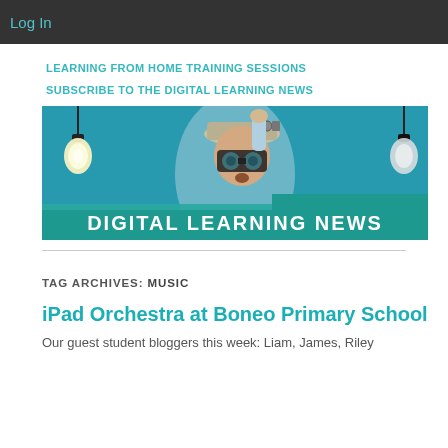Log In
LEARNING FROM HOME TRAINING SESSIONS
SUBSCRIBE TO THE DIGITAL LEARNING NEWS
[Figure (illustration): Banner image for Digital Learning News: a child wearing a colander hat with gadgets and large goggle glasses, raising a fist, against a teal chalkboard background. Two lightbulbs hang from the top. A teal banner at the bottom reads 'DIGITAL LEARNING NEWS' in white bold text.]
TAG ARCHIVES: MUSIC
iPad Orchestra at Boneo Primary School
Our guest student bloggers this week: Liam, James, Riley